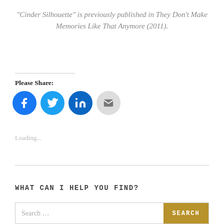“Cinder Silhouette” is previously published in They Don’t Make Memories Like That Anymore (2011).
Please Share:
[Figure (infographic): Social sharing icons: Facebook (blue), Twitter (light blue), LinkedIn (dark blue), Email (grey)]
Loading...
WHAT CAN I HELP YOU FIND?
Search ... SEARCH